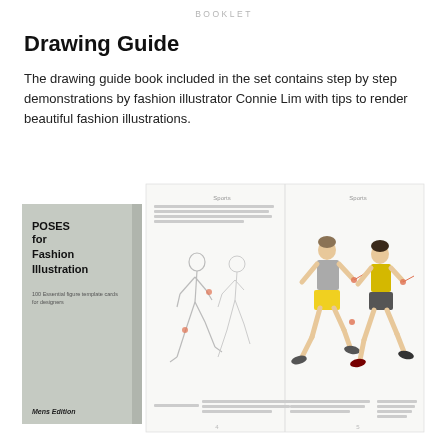BOOKLET
Drawing Guide
The drawing guide book included in the set contains step by step demonstrations by fashion illustrator Connie Lim with tips to render beautiful fashion illustrations.
[Figure (photo): A fashion illustration book titled 'POSES for Fashion Illustration – 100 Essential figure template cards for designers, Mens Edition' shown alongside an open spread of the book featuring running male figure illustrations in both outline/sketch form and colored form.]